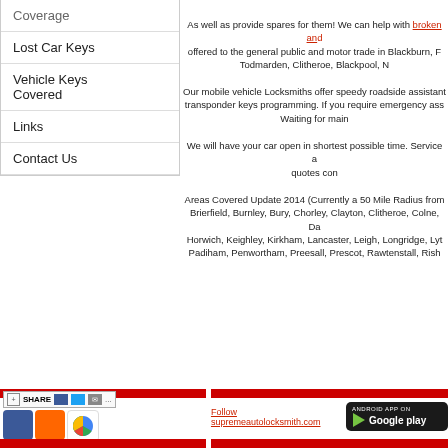Coverage
Lost Car Keys
Vehicle Keys Covered
Links
Contact Us
As well as provide spares for them! We can help with broken and... offered to the general public and motor trade in Blackburn, P... Todmarden, Clitheroe, Blackpool, N...
Our mobile vehicle Locksmiths offer speedy roadside assistant... transponder keys programming. If you require emergency ass... Waiting for main...
We will have your car open in shortest possible time. Service a... quotes con...
Areas Covered Update 2014 (Currently a 50 Mile Radius from... Brierfield, Burnley, Bury, Chorley, Clayton, Clitheroe, Colne, Da... Horwich, Keighley, Kirkham, Lancaster, Leigh, Longridge, Lyt... Padiham, Penwortham, Preesall, Prescot, Rawtenstall, Rish...
[Figure (screenshot): Social share bar with Facebook, Blogger, and Google+ icons, and follow link and Google Play button]